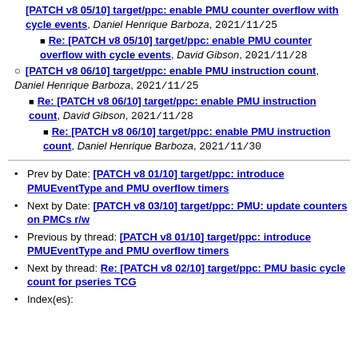[PATCH v8 05/10] target/ppc: enable PMU counter overflow with cycle events, Daniel Henrique Barboza, 2021/11/25
Re: [PATCH v8 05/10] target/ppc: enable PMU counter overflow with cycle events, David Gibson, 2021/11/28
[PATCH v8 06/10] target/ppc: enable PMU instruction count, Daniel Henrique Barboza, 2021/11/25
Re: [PATCH v8 06/10] target/ppc: enable PMU instruction count, David Gibson, 2021/11/28
Re: [PATCH v8 06/10] target/ppc: enable PMU instruction count, Daniel Henrique Barboza, 2021/11/30
Prev by Date: [PATCH v8 01/10] target/ppc: introduce PMUEventType and PMU overflow timers
Next by Date: [PATCH v8 03/10] target/ppc: PMU: update counters on PMCs r/w
Previous by thread: [PATCH v8 01/10] target/ppc: introduce PMUEventType and PMU overflow timers
Next by thread: Re: [PATCH v8 02/10] target/ppc: PMU basic cycle count for pseries TCG
Index(es):